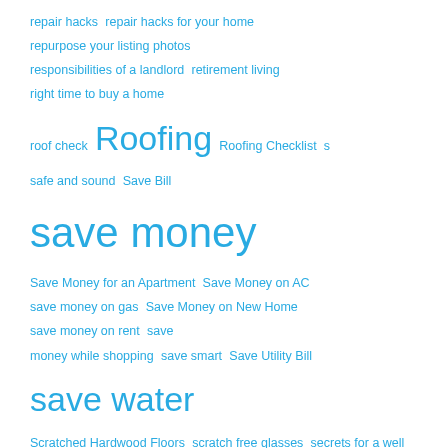[Figure (other): Tag cloud with home, saving, and lifestyle related terms in varying font sizes, all in blue/cyan color on white background. Larger terms include Roofing, save money, save water, Simple Home Improvement, Spring Cleaning Tips, Stress Free.]